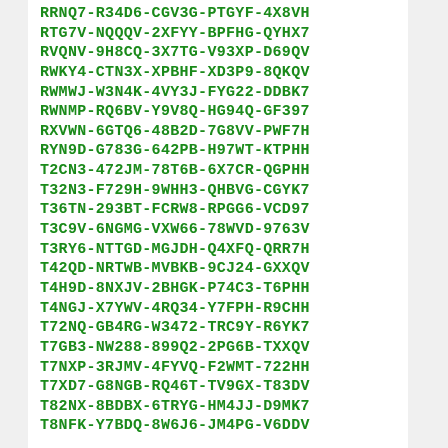RRNQ7-R34D6-CGV3G-PTGYF-4X8VH
RTG7V-NQQQV-2XFYY-BPFHG-QYHX7
RVQNV-9H8CQ-3X7TG-V93XP-D69QV
RWKY4-CTN3X-XPBHF-XD3P9-8QKQV
RWMWJ-W3N4K-4VY3J-FYG22-DDBK7
RWNMP-RQ6BV-Y9V8Q-HG94Q-GF397
RXVWN-6GTQ6-48B2D-7G8VV-PWF7H
RYN9D-G783G-642PB-H97WT-KTPHH
T2CN3-472JM-78T6B-6X7CR-QGPHH
T32N3-F729H-9WHH3-QHBVG-CGYK7
T36TN-293BT-FCRW8-RPGG6-VCD97
T3C9V-6NGMG-VXW66-78WVD-9763V
T3RY6-NTTGD-MGJDH-Q4XFQ-QRR7H
T42QD-NRTWB-MVBKB-9CJ24-GXXQV
T4H9D-8NXJV-2BHGK-P74C3-T6PHH
T4NGJ-X7YWV-4RQ34-Y7FPH-R9CHH
T72NQ-GB4RG-W3472-TRC9Y-R6YK7
T7GB3-NW288-899Q2-2PG6B-TXXQV
T7NXP-3RJMV-4FYVQ-F2WMT-722HH
T7XD7-G8NGB-RQ46T-TV9GX-T83DV
T82NX-8BDBX-6TRYG-HM4JJ-D9MK7
T8NFK-Y7BDQ-8W6J6-JM4PG-V6DDV